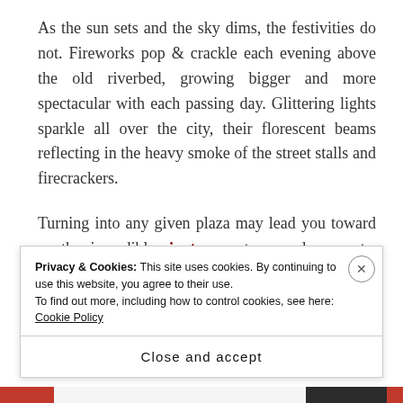As the sun sets and the sky dims, the festivities do not. Fireworks pop & crackle each evening above the old riverbed, growing bigger and more spectacular with each passing day. Glittering lights sparkle all over the city, their florescent beams reflecting in the heavy smoke of the street stalls and firecrackers.
Turning into any given plaza may lead you toward another incredible ninot, a spontaneous dance party, a court of falleras... or all three. The music, dancing, fireworks and festivities grow increasingly later and
Privacy & Cookies: This site uses cookies. By continuing to use this website, you agree to their use.
To find out more, including how to control cookies, see here: Cookie Policy
Close and accept